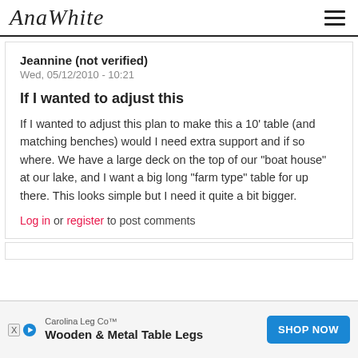AnaWhite
Jeannine (not verified)
Wed, 05/12/2010 - 10:21
If I wanted to adjust this
If I wanted to adjust this plan to make this a 10' table (and matching benches) would I need extra support and if so where. We have a large deck on the top of our "boat house" at our lake, and I want a big long "farm type" table for up there. This looks simple but I need it quite a bit bigger.
Log in or register to post comments
Carolina Leg Co™ Wooden & Metal Table Legs SHOP NOW